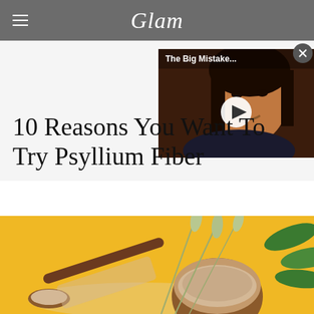Glam
[Figure (screenshot): Video thumbnail overlay showing a woman's face with text 'The Big Mistake...' and a play button]
10 Reasons You Want To Try Psyllium Fiber
[Figure (photo): Yellow background with a wooden bowl of psyllium fiber powder, a wooden spoon with powder, wheat stalks, and green leaves]